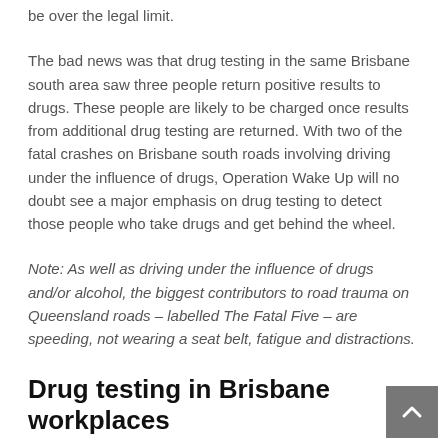be over the legal limit.
The bad news was that drug testing in the same Brisbane south area saw three people return positive results to drugs. These people are likely to be charged once results from additional drug testing are returned. With two of the fatal crashes on Brisbane south roads involving driving under the influence of drugs, Operation Wake Up will no doubt see a major emphasis on drug testing to detect those people who take drugs and get behind the wheel.
Note: As well as driving under the influence of drugs and/or alcohol, the biggest contributors to road trauma on Queensland roads – labelled The Fatal Five – are speeding, not wearing a seat belt, fatigue and distractions.
Drug testing in Brisbane workplaces